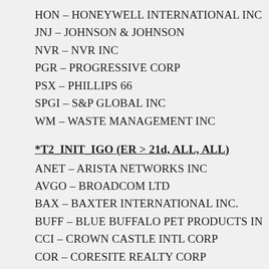HON – HONEYWELL INTERNATIONAL INC
JNJ – JOHNSON & JOHNSON
NVR – NVR INC
PGR – PROGRESSIVE CORP
PSX – PHILLIPS 66
SPGI – S&P GLOBAL INC
WM – WASTE MANAGEMENT INC
*T2_INIT_IGO (ER > 21d, ALL, ALL)
ANET – ARISTA NETWORKS INC
AVGO – BROADCOM LTD
BAX – BAXTER INTERNATIONAL INC.
BUFF – BLUE BUFFALO PET PRODUCTS IN
CCI – CROWN CASTLE INTL CORP
COR – CORESITE REALTY CORP